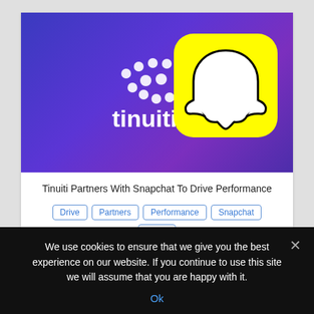[Figure (illustration): Hero image with blue-purple gradient background showing the Tinuiti logo (white dotted infinity-style icon with 'tinuiti' text) on the left and the Snapchat ghost logo on a yellow rounded square on the right.]
Tinuiti Partners With Snapchat To Drive Performance
Drive
Partners
Performance
Snapchat
Tinuiti
We use cookies to ensure that we give you the best experience on our website. If you continue to use this site we will assume that you are happy with it.
Ok